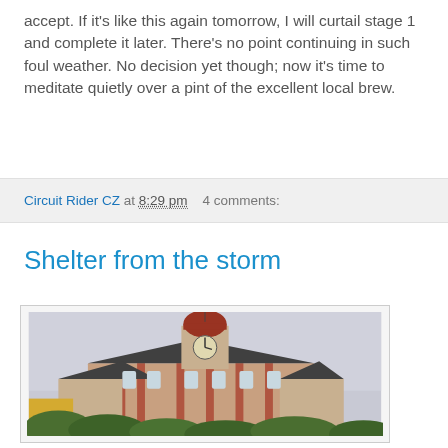accept. If it's like this again tomorrow, I will curtail stage 1 and complete it later. There's no point continuing in such foul weather. No decision yet though; now it's time to meditate quietly over a pint of the excellent local brew.
Circuit Rider CZ at 8:29 pm   4 comments:
Shelter from the storm
[Figure (photo): Photograph of a Central European baroque-style building or castle with a clock tower topped by a red dome and weather vane, surrounded by green trees. The sky is overcast and grey.]